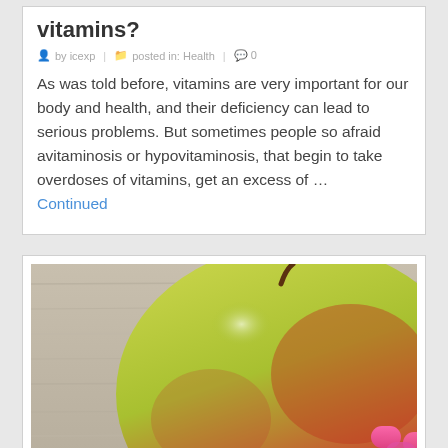vitamins?
by icexp | posted in: Health | 0
As was told before, vitamins are very important for our body and health, and their deficiency can lead to serious problems. But sometimes people so afraid avitaminosis or hypovitaminosis, that begin to take overdoses of vitamins, get an excess of … Continued
[Figure (photo): Close-up photo of a green-red apple on a wooden surface with pink vitamin pills visible at the bottom right.]